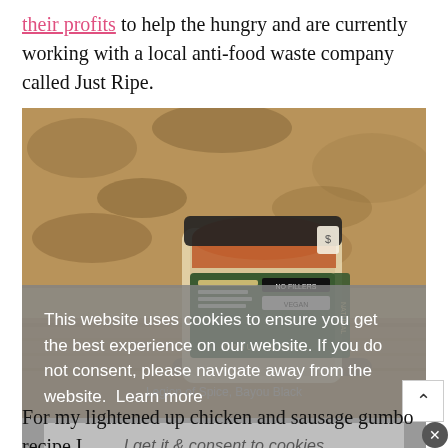their profits to help the hungry and are currently working with a local anti-food waste company called Just Ripe.
[Figure (photo): A glass jar of Legion of Spice Bayou Black spice blend sitting on a granite countertop, with a wooden spoon visible below.]
Legion of Spice, Bayou Black
This website uses cookies to ensure you get the best experience on our website. If you do not consent, please navigate away from the website.  Learn more
I get it & consent to cookies
For my lightened up chicken and sausage gumbo recipe I